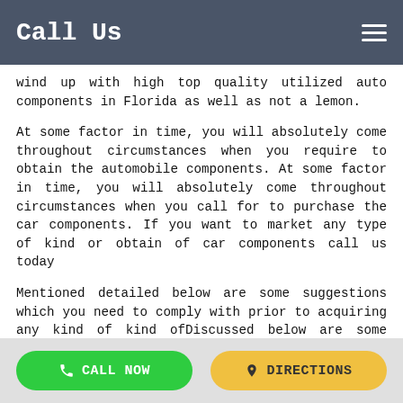Call Us
wind up with high top quality utilized auto components in Florida as well as not a lemon.
At some factor in time, you will absolutely come throughout circumstances when you require to obtain the automobile components. At some factor in time, you will absolutely come throughout circumstances when you call for to purchase the car components. If you want to market any type of kind or obtain of car components call us today
Mentioned detailed below are some suggestions which you need to comply with prior to acquiring any kind of kind ofDiscussed below are some ideas which you have to stick to prior to buying any type of previously owned components.
The location from where you are going to get– At the time of acquiring any kind of pre-owned autos and also vehicle components. Obtaining made use of automobile components is
CALL NOW   DIRECTIONS